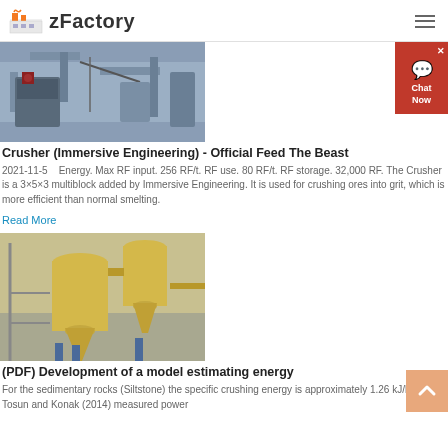zFactory
[Figure (photo): Industrial machinery photo showing pipes and equipment in grey/blue tones]
Crusher (Immersive Engineering) - Official Feed The Beast
2021-11-5   Energy. Max RF input. 256 RF/t. RF use. 80 RF/t. RF storage. 32,000 RF. The Crusher is a 3×5×3 multiblock added by Immersive Engineering. It is used for crushing ores into grit, which is more efficient than normal smelting.
Read More
[Figure (photo): Industrial yellow powder milling equipment in factory setting]
(PDF) Development of a model estimating energy
For the sedimentary rocks (Siltstone) the specific crushing energy is approximately 1.26 kJ/kg. Tosun and Konak (2014) measured power